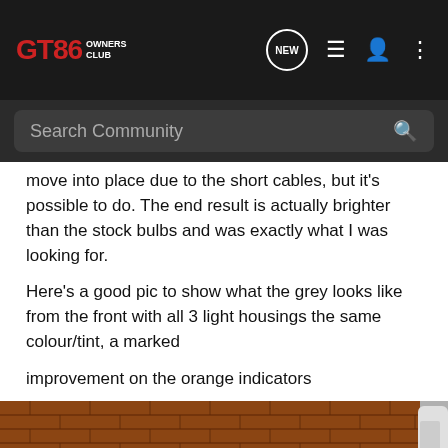GT86 OWNERS CLUB
move into place due to the short cables, but it's possible to do. The end result is actually brighter than the stock bulbs and was exactly what I was looking for.
Here's a good pic to show what the grey looks like from the front with all 3 light housings the same colour/tint, a marked

improvement on the orange indicators
[Figure (photo): Front view of a dark coloured GT86 sports car parked in front of a brick wall. A white vehicle is partially visible on the right. The car's headlights and bonnet are visible from the front.]